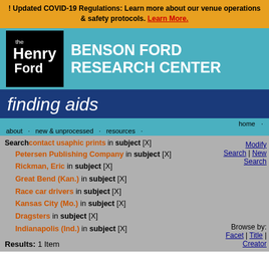! Updated COVID-19 Regulations: Learn more about our venue operations & safety protocols. Learn More.
[Figure (logo): The Henry Ford logo in black box with white text]
BENSON FORD RESEARCH CENTER
finding aids
home · about · new & unprocessed · resources · contact us
Search photographic prints in subject [X] Petersen Publishing Company in subject [X] Rickman, Eric in subject [X] Great Bend (Kan.) in subject [X] Race car drivers in subject [X] Kansas City (Mo.) in subject [X] Dragsters in subject [X] Indianapolis (Ind.) in subject [X]
Modify Search | New Search
Results: 1 Item
Browse by: Facet | Title | Creator